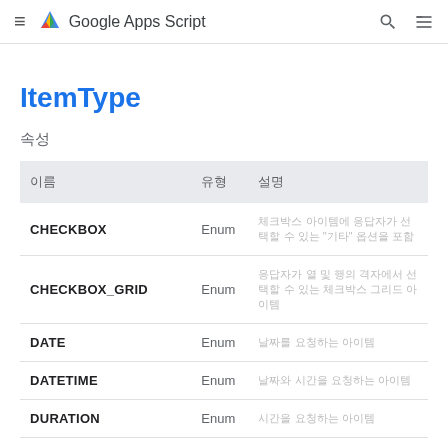Google Apps Script
ItemType
속성
| 이름 | 유형 | 설명 |
| --- | --- | --- |
| CHECKBOX | Enum | 체크박스 아이템 "기타" 옵션 |
| CHECKBOX_GRID | Enum | 응답자가 열 및 행의 격자에서 선택할 수 있는 체크박스 그리드 아이템 |
| DATE | Enum | 날짜를 요청하는 아이템 |
| DATETIME | Enum | 날짜와 시간을 요청하는 아이템 |
| DURATION | Enum | 시간을 요청하는 아이템 |
| GRID | Enum | 응답자가 열 및 행에서 선택할 수 있는 그리드 아이템 |